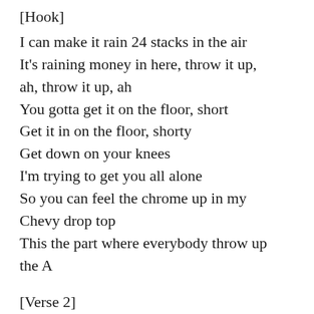[Hook]
I can make it rain 24 stacks in the air
It's raining money in here, throw it up, ah, throw it up, ah
You gotta get it on the floor, short
Get it in on the floor, shorty
Get down on your knees
I'm trying to get you all alone
So you can feel the chrome up in my Chevy drop top
This the part where everybody throw up the A
[Verse 2]
Aye, what it do, shorty? Let me get that number, shorty
What you see in the A, we shoulder lean